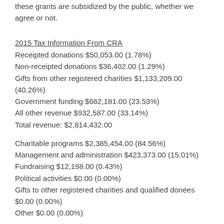these grants are subsidized by the public, whether we agree or not.
2015 Tax Information From CRA
Receipted donations $50,053.00 (1.78%)
Non-receipted donations $36,402.00 (1.29%)
Gifts from other registered charities $1,133,209.00 (40.26%)
Government funding $662,181.00 (23.53%)
All other revenue $932,587.00 (33.14%)
Total revenue: $2,814,432.00
Charitable programs $2,385,454.00 (84.56%)
Management and administration $423,373.00 (15.01%)
Fundraising $12,198.00 (0.43%)
Political activities $0.00 (0.00%)
Gifts to other registered charities and qualified donees $0.00 (0.00%)
Other $0.00 (0.00%)